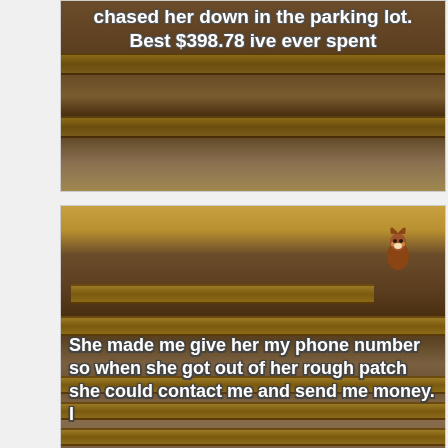[Figure (photo): Meme image showing tree roots/wooden shelves background with white bold text overlay reading: 'chased her down in the parking lot. Best $398.78 ive ever spent']
[Figure (photo): Meme image showing tree trunk with autumn leaves background, a squirrel in upper right, horizontal wooden shelves, with white bold text overlay reading: 'She made me give her my phone number so when she got out of her rough patch she could contact me and send me money. I gave her a fake number']